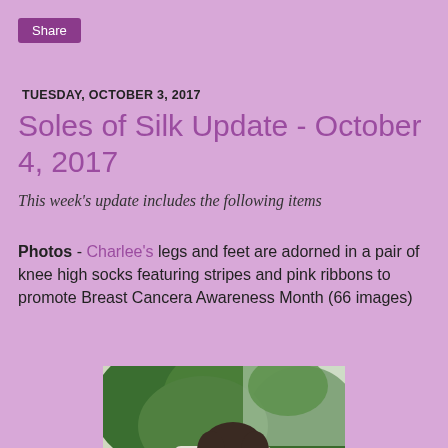Share
TUESDAY, OCTOBER 3, 2017
Soles of Silk Update - October 4, 2017
This week's update includes the following items
Photos - Charlee's legs and feet are adorned in a pair of knee high socks featuring stripes and pink ribbons to promote Breast Cancera Awareness Month (66 images)
[Figure (photo): Woman with curly hair and glasses smiling outdoors with trees in background, feet/socks visible in foreground]